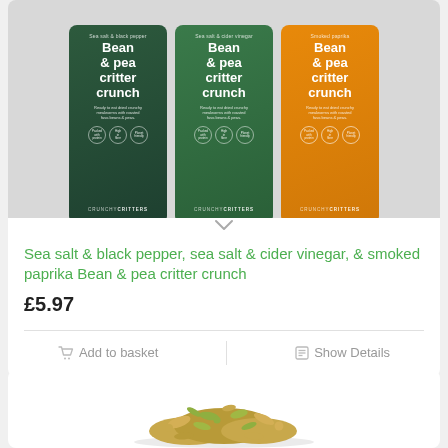[Figure (photo): Three Bean & pea critter crunch packages from Crunchy Critters — dark green (sea salt & black pepper), mid green (sea salt & cider vinegar), and orange (smoked paprika) — displayed side by side]
Sea salt & black pepper, sea salt & cider vinegar, & smoked paprika Bean & pea critter crunch
£5.97
Add to basket
Show Details
[Figure (photo): Mixed bug/insect snack food mix — granola-style loose product shot from above]